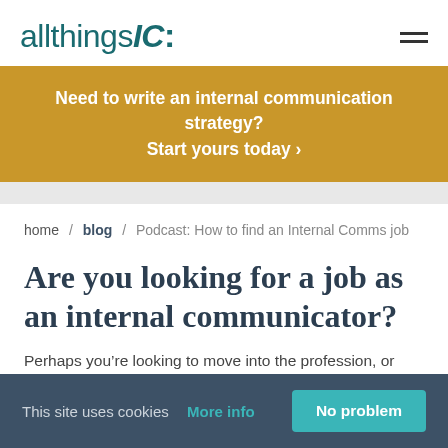allthingsIC:
Need to write an internal communication strategy? Start yours today >
home / blog / Podcast: How to find an Internal Comms job
Are you looking for a job as an internal communicator?
Perhaps you’re looking to move into the profession, or
This site uses cookies  More info  No problem